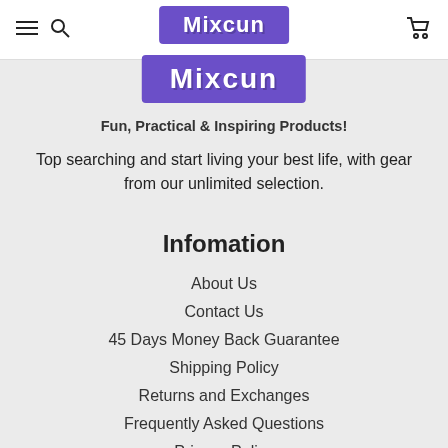Mixcun
[Figure (logo): Mixcun logo — white text on purple/violet background rectangle, bold font]
Fun, Practical & Inspiring Products!
Top searching and start living your best life, with gear from our unlimited selection.
Infomation
About Us
Contact Us
45 Days Money Back Guarantee
Shipping Policy
Returns and Exchanges
Frequently Asked Questions
Privacy Policy
Terms of Service